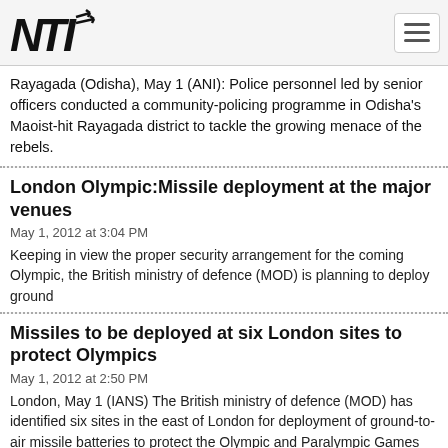NTI logo and navigation
Rayagada (Odisha), May 1 (ANI): Police personnel led by senior officers conducted a community-policing programme in Odisha's Maoist-hit Rayagada district to tackle the growing menace of the rebels.
London Olympic:Missile deployment at the major venues
May 1, 2012 at 3:04 PM
Keeping in view the proper security arrangement for the coming Olympic, the British ministry of defence (MOD) is planning to deploy ground
Missiles to be deployed at six London sites to protect Olympics
May 1, 2012 at 2:50 PM
London, May 1 (IANS) The British ministry of defence (MOD) has identified six sites in the east of London for deployment of ground-to-air missile batteries to protect the Olympic and Paralympic Games scheduled for July-August.
China's animation industry grows
May 1, 2012 at 2:50 PM